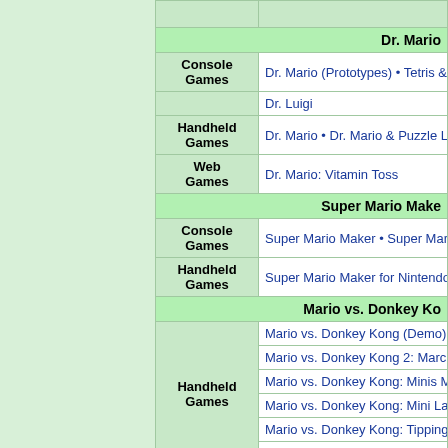|  | Dr. Mario |
| --- | --- |
| Console Games | Dr. Mario (Prototypes) • Tetris & Dr. Luigi |
| Handheld Games | Dr. Mario • Dr. Mario & Puzzle Le... |
| Web Games | Dr. Mario: Vitamin Toss |
|  | Super Mario Make... |
| --- | --- |
| Console Games | Super Mario Maker • Super Mari... |
| Handheld Games | Super Mario Maker for Nintendo... |
|  | Mario vs. Donkey Ko... |
| --- | --- |
| Handheld Games | Mario vs. Donkey Kong (Demo) •
Mario vs. Donkey Kong 2: March...
Mario vs. Donkey Kong: Minis M...
Mario vs. Donkey Kong: Mini La...
Mario vs. Donkey Kong: Tipping...
Mini Mario & Friends: amiibo Ch... |